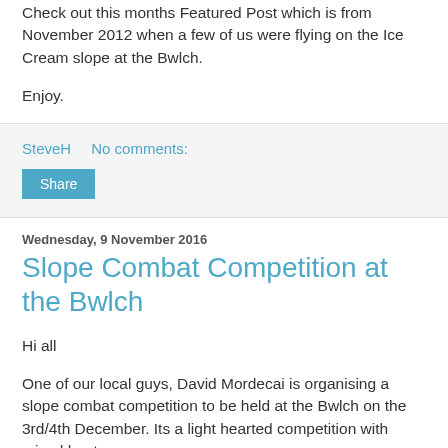Hi guys
Check out this months Featured Post which is from November 2012 when a few of us were flying on the Ice Cream slope at the Bwlch.
Enjoy.
SteveH   No comments:
Share
Wednesday, 9 November 2016
Slope Combat Competition at the Bwlch
Hi all
One of our local guys, David Mordecai is organising a slope combat competition to be held at the Bwlch on the 3rd/4th December. Its a light hearted competition with mixed heats.